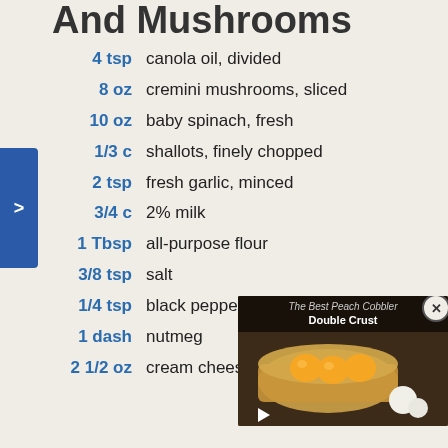And Mushrooms
4 tsp  canola oil, divided
8 oz  cremini mushrooms, sliced
10 oz  baby spinach, fresh
1/3 c  shallots, finely chopped
2 tsp  fresh garlic, minced
3/4 c  2% milk
1 Tbsp  all-purpose flour
3/8 tsp  salt
1/4 tsp  black pepper, freshly ground
1 dash  nutmeg
2 1/2 oz  cream cheese, softened
[Figure (screenshot): Video overlay showing 'The Best Peach Cobbler Double Crust' with thumbnail of peaches in a baking dish and a play button.]